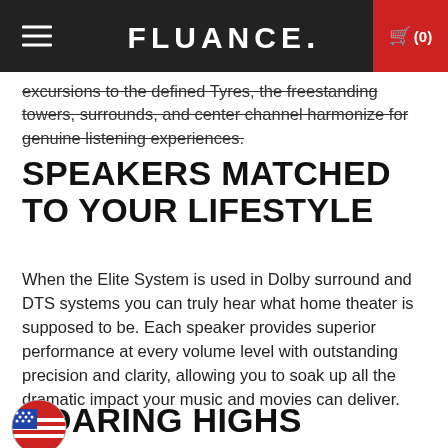FLUANCE. (0)
excursions to the defined Tyres, the freestanding towers, surrounds, and center channel harmonize for genuine listening experiences.
SPEAKERS MATCHED TO YOUR LIFESTYLE
When the Elite System is used in Dolby surround and DTS systems you can truly hear what home theater is supposed to be. Each speaker provides superior performance at every volume level with outstanding precision and clarity, allowing you to soak up all the dramatic impact your music and movies can deliver.
SOARING HIGHS
[Figure (illustration): US flag circle/badge icon at bottom left]